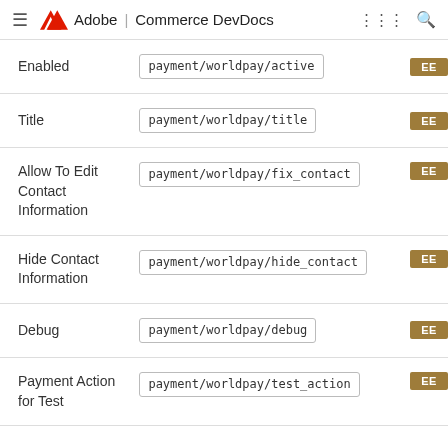Adobe | Commerce DevDocs
| Field | Config path |  |
| --- | --- | --- |
| Enabled | payment/worldpay/active | EE |
| Title | payment/worldpay/title | EE |
| Allow To Edit Contact Information | payment/worldpay/fix_contact | EE |
| Hide Contact Information | payment/worldpay/hide_contact | EE |
| Debug | payment/worldpay/debug | EE |
| Payment Action for Test | payment/worldpay/test_action | EE |